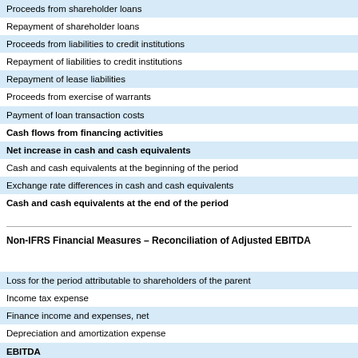Proceeds from shareholder loans
Repayment of shareholder loans
Proceeds from liabilities to credit institutions
Repayment of liabilities to credit institutions
Repayment of lease liabilities
Proceeds from exercise of warrants
Payment of loan transaction costs
Cash flows from financing activities
Net increase in cash and cash equivalents
Cash and cash equivalents at the beginning of the period
Exchange rate differences in cash and cash equivalents
Cash and cash equivalents at the end of the period
Non-IFRS Financial Measures – Reconciliation of Adjusted EBITDA
Loss for the period attributable to shareholders of the parent
Income tax expense
Finance income and expenses, net
Depreciation and amortization expense
EBITDA
Share-based compensation expense
IPO preparation and transaction costs
Adjusted EBITDA